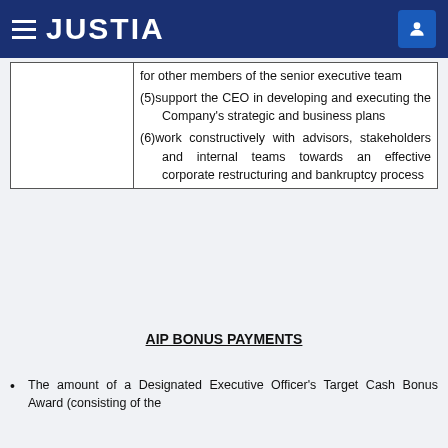JUSTIA
|  | for other members of the senior executive team
(5)support the CEO in developing and executing the Company's strategic and business plans
(6)work constructively with advisors, stakeholders and internal teams towards an effective corporate restructuring and bankruptcy process |
AIP BONUS PAYMENTS
The amount of a Designated Executive Officer's Target Cash Bonus Award (consisting of the